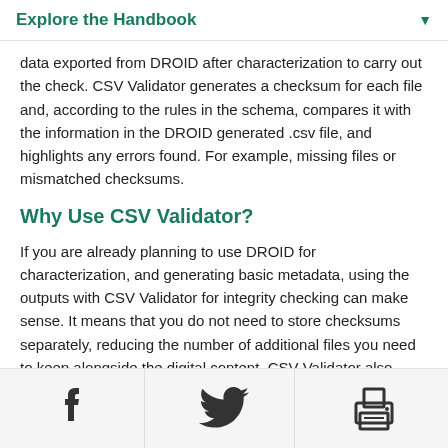Explore the Handbook
data exported from DROID after characterization to carry out the check. CSV Validator generates a checksum for each file and, according to the rules in the schema, compares it with the information in the DROID generated .csv file, and highlights any errors found. For example, missing files or mismatched checksums.
Why Use CSV Validator?
If you are already planning to use DROID for characterization, and generating basic metadata, using the outputs with CSV Validator for integrity checking can make sense. It means that you do not need to store checksums separately, reducing the number of additional files you need to keep alongside the digital content. CSV Validator also provides useful details in its results log when an error
ce identifying
Facebook | Twitter | Print